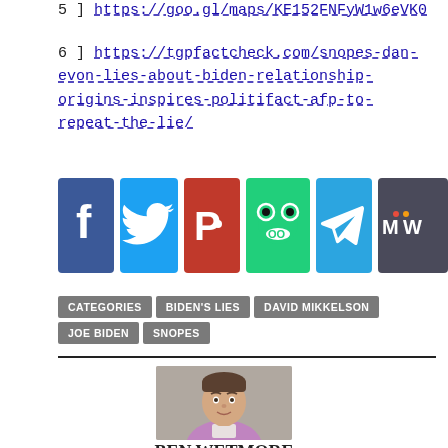5 ] https://goo.gl/maps/KE152FNFyW1w6eVK0
6 ] https://tgpfactcheck.com/snopes-dan-evon-lies-about-biden-relationship-origins-inspires-politifact-afp-to-repeat-the-lie/
[Figure (infographic): Social media share buttons: Facebook (blue), Twitter (light blue), Parler (red), Gab (green frog), Telegram (blue), MeWe (dark)]
CATEGORIES   BIDEN'S LIES   DAVID MIKKELSON   JOE BIDEN   SNOPES
[Figure (photo): Headshot photo of Ben Wetmore, a man in a purple/lavender polo shirt]
BEN WETMORE
Has been published in Human Events, The Federalist